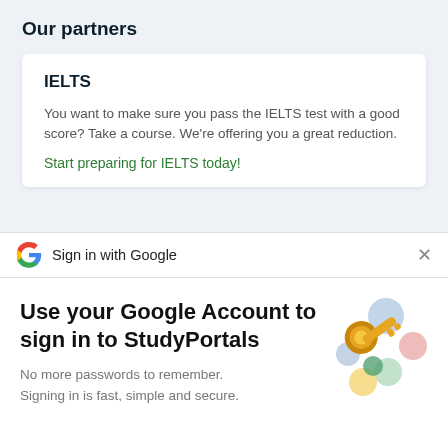Our partners
IELTS
You want to make sure you pass the IELTS test with a good score? Take a course. We're offering you a great reduction.
Start preparing for IELTS today!
Sign in with Google
Use your Google Account to sign in to StudyPortals
No more passwords to remember.
Signing in is fast, simple and secure.
[Figure (illustration): Google sign-in key illustration with colorful geometric shapes and a golden key]
Continue